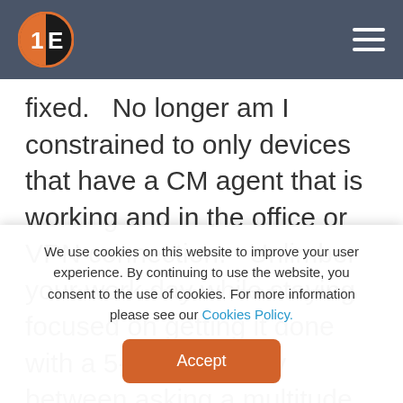1E logo and navigation menu
fixed.   No longer am I constrained to only devices that have a CM agent that is working and in the office or VPN connection.   Unlimber your work day while staying focused on getting it done with a 5-second delay between asking a multitude questions and taking actions to ensure change.  Then go get a coffee.
We use cookies on this website to improve your user experience. By continuing to use the website, you consent to the use of cookies. For more information please see our Cookies Policy.